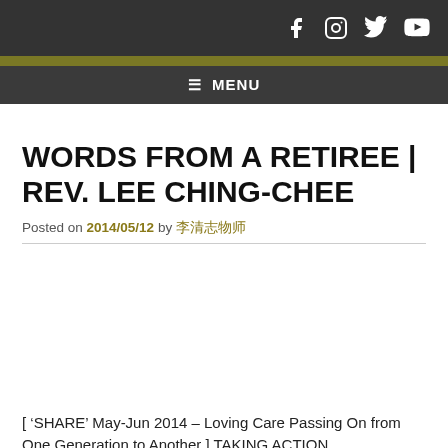Social media icons: Facebook, Instagram, Twitter, YouTube
≡ MENU
WORDS FROM A RETIREE | REV. LEE CHING-CHEE
Posted on 2014/05/12 by 李清志牧師
[ 'SHARE' May-Jun 2014 – Loving Care Passing On from One Generation to Another ] TAKING ACTION